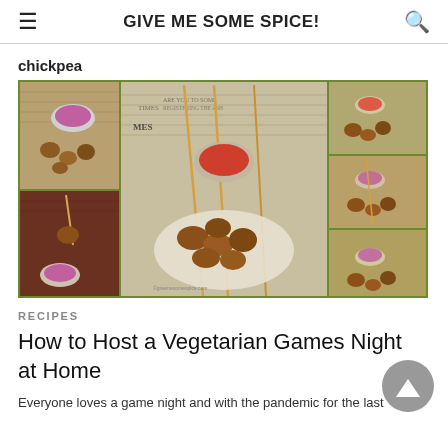GIVE ME SOME SPICE!
chickpea
[Figure (photo): Food photo collage showing fried chickpea balls/snacks on newspaper with dipping sauce in a bowl, multiple angles]
RECIPES
How to Host a Vegetarian Games Night at Home
Everyone loves a game night and with the pandemic for the last